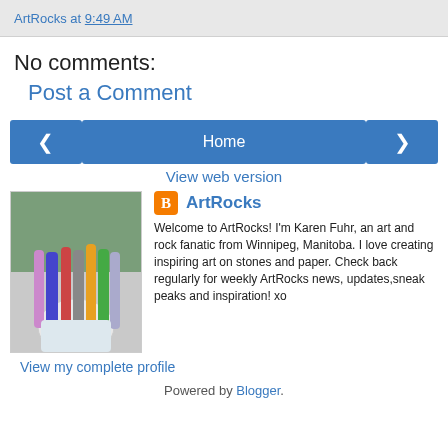ArtRocks at 9:49 AM
No comments:
Post a Comment
[Figure (other): Navigation row with left arrow button, Home button, and right arrow button]
View web version
[Figure (photo): Photo of paint brushes in a white cup]
ArtRocks
Welcome to ArtRocks! I'm Karen Fuhr, an art and rock fanatic from Winnipeg, Manitoba. I love creating inspiring art on stones and paper. Check back regularly for weekly ArtRocks news, updates,sneak peaks and inspiration! xo
View my complete profile
Powered by Blogger.